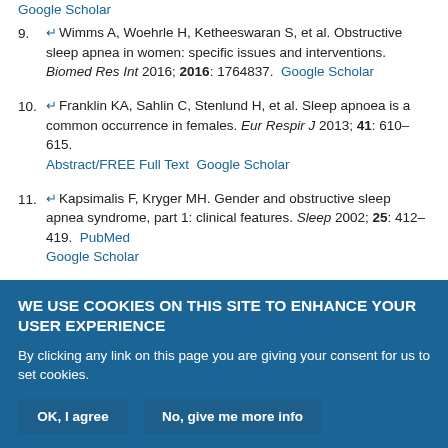Google Scholar
9. Wimms A, Woehrle H, Ketheeswaran S, et al. Obstructive sleep apnea in women: specific issues and interventions. Biomed Res Int 2016; 2016: 1764837. Google Scholar
10. Franklin KA, Sahlin C, Stenlund H, et al. Sleep apnoea is a common occurrence in females. Eur Respir J 2013; 41: 610–615. Abstract/FREE Full Text Google Scholar
11. Kapsimalis F, Kryger MH. Gender and obstructive sleep apnea syndrome, part 1: clinical features. Sleep 2002; 25: 412–419. PubMed Google Scholar
12. Sforza E, Chouchou F, Collet P, et al. Sex differences in obstructive
WE USE COOKIES ON THIS SITE TO ENHANCE YOUR USER EXPERIENCE
By clicking any link on this page you are giving your consent for us to set cookies.
OK, I agree | No, give me more info